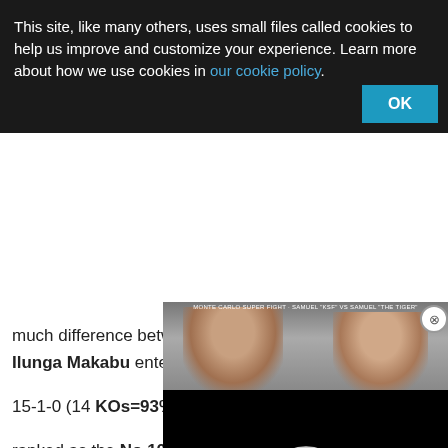This site, like many others, uses small files called cookies to help us improve and customize your experience. Learn more about how we use cookies in our cookie policy.
OK
much difference between the two boxers, we can't give more than two stars. Ilunga Makabu entered this fight with a pro boxing record 15-1-0 (14 KOs=93%) and he is ranked as the No.10 cruiserweight in the world, he suffered his only debut in 2008 against Khayeni Hlungwane, so he has 15-fight win streak.
[Figure (photo): Boxing advertisement: Monte-Carlo Boxing Bonanza, February 1, WBA & IBO Middleweight Title]
[Figure (screenshot): Black video player overlay with circular loading indicator]
His opponent, Ruben Angel Mino, comes from Argentina and he has a perfect record of 20-0-0 (with 20 KOs=100%!!) but he is 39 years old (13 more than